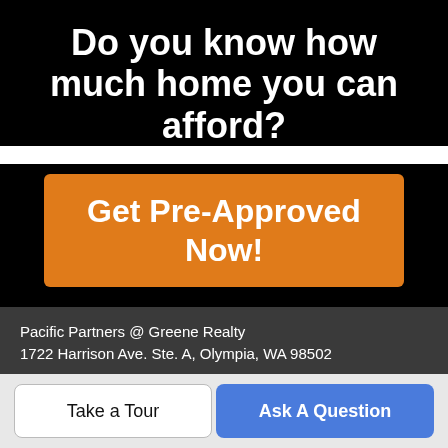Do you know how much home you can afford?
Get Pre-Approved Now!
Pacific Partners @ Greene Realty
1722 Harrison Ave. Ste. A, Olympia, WA 98502
📞 360-528-4160
The listing data relating to real estate for sale on this web site comes in part from the Northwest Multiple Listing Service. Real
Take a Tour
Ask A Question